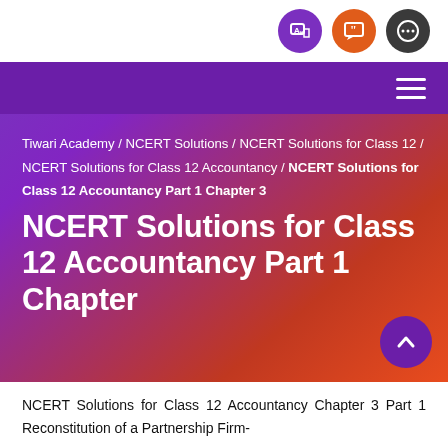[Figure (screenshot): Top navigation bar with three icon buttons: a purple language/translate button, an orange quote/feedback button, and a dark grey more-options button]
[Figure (screenshot): Purple header banner with hamburger menu icon on the right]
Tiwari Academy / NCERT Solutions / NCERT Solutions for Class 12 / NCERT Solutions for Class 12 Accountancy / NCERT Solutions for Class 12 Accountancy Part 1 Chapter 3
NCERT Solutions for Class 12 Accountancy Part 1 Chapter
NCERT Solutions for Class 12 Accountancy Chapter 3 Part 1 Reconstitution of a Partnership Firm-